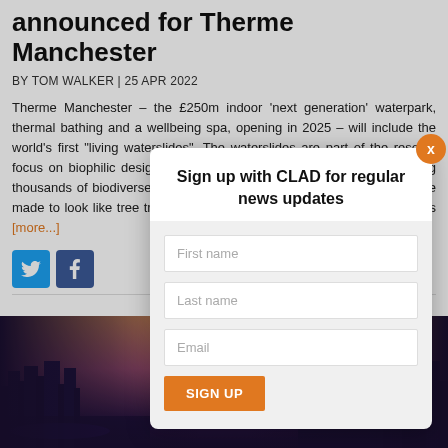announced for Therme Manchester
BY TOM WALKER | 25 APR 2022
Therme Manchester – the £250m indoor 'next generation' waterpark, thermal bathing and a wellbeing spa, opening in 2025 – will include the world's first "living waterslides". The waterslides are part of the resort's focus on biophilic design and will feature 3D-printed structures housing thousands of biodiverse plants. Thanks to their design, the slides will be made to look like tree trunks, with plants growing out of them. Due to its [more...]
[Figure (photo): Nighttime aerial cityscape photo used as background image strip at bottom of page]
Sign up with CLAD for regular news updates
First name
Last name
Email
SIGN UP